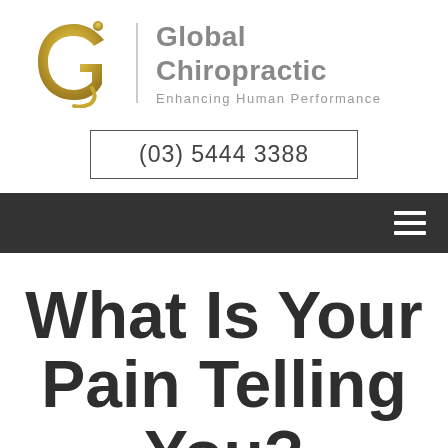[Figure (logo): Global Chiropractic logo: stylized gold letter g with dot, vertical divider line, brand name 'Global Chiropractic' in gray bold, tagline 'Enhancing Human Performance' in light gray]
(03) 5444 3388
[Figure (other): Dark gray navigation bar with hamburger menu icon (three horizontal white lines) on the right]
What Is Your Pain Telling You?